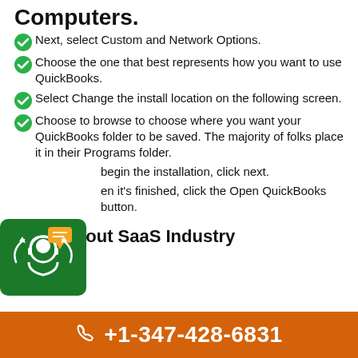Computers.
Next, select Custom and Network Options.
Choose the one that best represents how you want to use QuickBooks.
Select Change the install location on the following screen.
Choose to browse to choose where you want your QuickBooks folder to be saved. The majority of folks place it in their Programs folder.
To begin the installation, click next.
When it's finished, click the Open QuickBooks button.
News about SaaS Industry
+1-347-428-6831